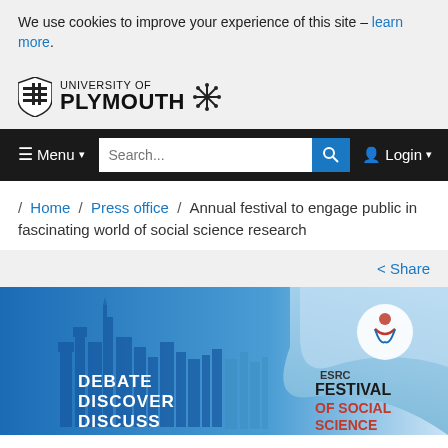We use cookies to improve your experience of this site – learn more.
[Figure (logo): University of Plymouth logo with shield emblem and snowflake icon]
[Figure (screenshot): Navigation bar with Menu, Search field, and Login controls]
/ Home / Press office / Annual festival to engage public in fascinating world of social science research
< Share
[Figure (illustration): ESRC Festival of Social Science banner with city skyline silhouette, text: DEBATE DISCOVER DISCUSS and ESRC FESTIVAL OF SOCIAL SCIENCE logo]